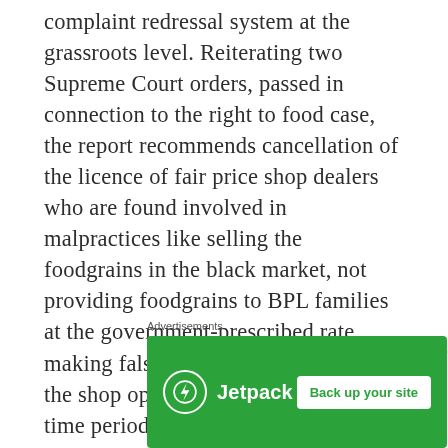complaint redressal system at the grassroots level. Reiterating two Supreme Court orders, passed in connection to the right to food case, the report recommends cancellation of the licence of fair price shop dealers who are found involved in malpractices like selling the foodgrains in the black market, not providing foodgrains to BPL families at the government-prescribed rate, making false entries and not keeping the shop open during the stipulated time period.
It also directs the Centre to include under Antyodaya Anna Yojana the aged, infirm, destitute men and women, including lactating
Advertisements
[Figure (other): Jetpack advertisement banner with green background, Jetpack logo and name on left, 'Back up your site' white button on right]